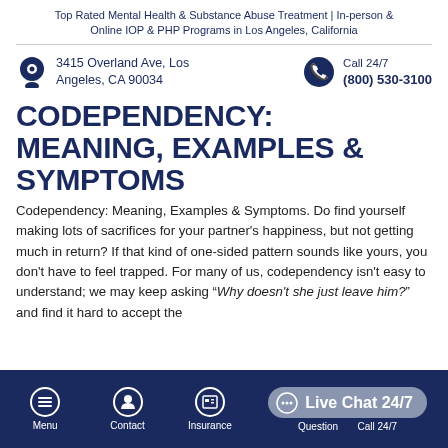Top Rated Mental Health & Substance Abuse Treatment | In-person & Online IOP & PHP Programs in Los Angeles, California
3415 Overland Ave, Los Angeles, CA 90034
Call 24/7
(800) 530-3100
CODEPENDENCY: MEANING, EXAMPLES & SYMPTOMS
Codependency: Meaning, Examples & Symptoms. Do find yourself making lots of sacrifices for your partner's happiness, but not getting much in return? If that kind of one-sided pattern sounds like yours, you don't have to feel trapped. For many of us, codependency isn't easy to understand; we may keep asking “Why doesn't she just leave him?” and find it hard to accept the
Menu  Contact  Insurance  Question  Call 24/7  Live Chat 24/7